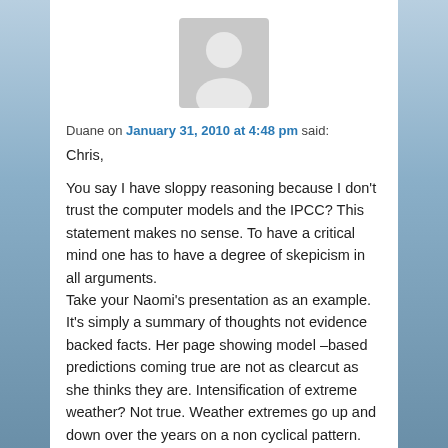[Figure (illustration): Gray avatar/silhouette icon of a person, used as a default user profile image]
Duane on January 31, 2010 at 4:48 pm said:
Chris,

You say I have sloppy reasoning because I don't trust the computer models and the IPCC? This statement makes no sense. To have a critical mind one has to have a degree of skepicism in all arguments.
Take your Naomi's presentation as an example. It's simply a summary of thoughts not evidence backed facts. Her page showing model –based predictions coming true are not as clearcut as she thinks they are. Intensification of extreme weather? Not true. Weather extremes go up and down over the years on a non cyclical pattern. Studies show that it is not intensifying. Rising sea level? Yes, but no more now than in the past. Her graph on temperature in the last 1000 years? Proven false. To show me this piece of work just